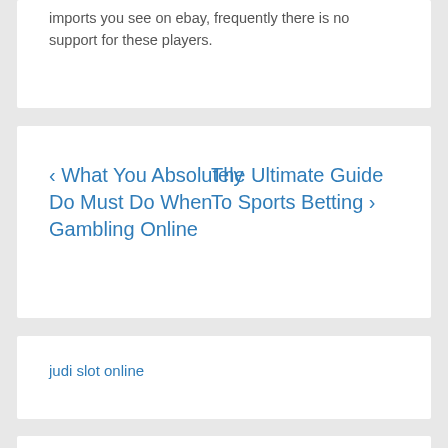imports you see on ebay, frequently there is no support for these players.
‹ What You Absolutely Do Must Do When Gambling Online
The Ultimate Guide To Sports Betting ›
judi slot online
situs resmi judi slot online